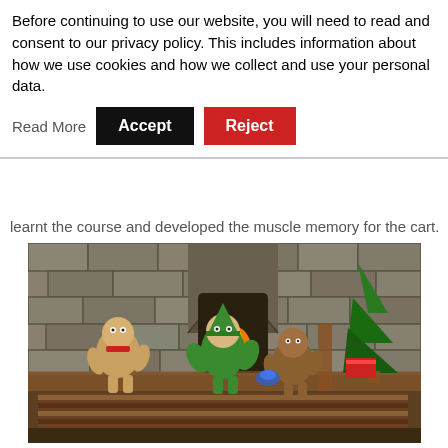Before continuing to use our website, you will need to read and consent to our privacy policy. This includes information about how we use cookies and how we collect and use your personal data.  Read More   Accept   Reject
learnt the course and developed the muscle memory for the cart.
[Figure (screenshot): A screenshot from a 3D video game showing cartoon-style characters inside a medieval castle room with a stone wall background, a fireplace with a flame, a Christmas tree in the corner, wooden beams, and a striped rug floor. Three characters are visible: a beige/tan character on the left, a green character in the center wearing a pointed hat, and a brown character on the right.]